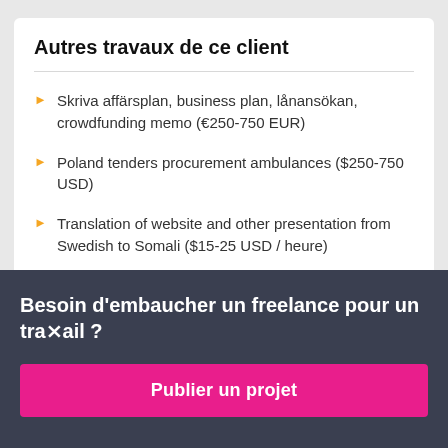Autres travaux de ce client
Skriva affärsplan, business plan, lånansökan, crowdfunding memo (€250-750 EUR)
Poland tenders procurement ambulances ($250-750 USD)
Translation of website and other presentation from Swedish to Somali ($15-25 USD / heure)
Besoin d'embaucher un freelance pour un travail ?
Publier un projet